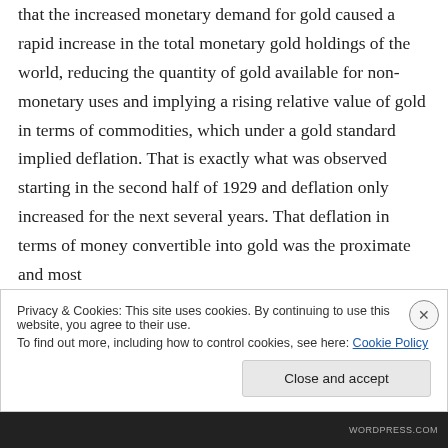that the increased monetary demand for gold caused a rapid increase in the total monetary gold holdings of the world, reducing the quantity of gold available for non-monetary uses and implying a rising relative value of gold in terms of commodities, which under a gold standard implied deflation. That is exactly what was observed starting in the second half of 1929 and deflation only increased for the next several years. That deflation in terms of money convertible into gold was the proximate and most
Privacy & Cookies: This site uses cookies. By continuing to use this website, you agree to their use.
To find out more, including how to control cookies, see here: Cookie Policy